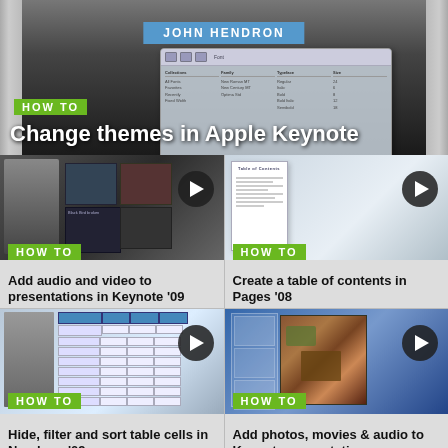[Figure (screenshot): Top banner showing Apple Keynote Font dialog with text 'JOHN HENDRON' on screen. HOW TO badge and title overlay.]
HOW TO
Change themes in Apple Keynote
[Figure (screenshot): Thumbnail showing Keynote '09 with audio/video thumbnails grid and play button overlay. HOW TO badge.]
HOW TO
Add audio and video to presentations in Keynote '09
[Figure (screenshot): Thumbnail showing Pages '08 table of contents document with play button overlay. HOW TO badge.]
HOW TO
Create a table of contents in Pages '08
[Figure (screenshot): Thumbnail showing Numbers '09 spreadsheet with table cells. HOW TO badge and play button.]
HOW TO
Hide, filter and sort table cells in Numbers '09
[Figure (screenshot): Thumbnail showing Keynote presentation with photos and movies. Blue background with photo of drinks/food. HOW TO badge and play button.]
HOW TO
Add photos, movies & audio to Keynote presentations